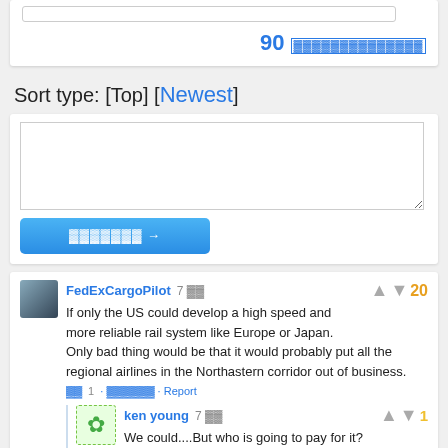90 [garbled characters]
Sort type: [Top] [Newest]
[Figure (screenshot): Comment input textarea box]
[Figure (screenshot): Blue submit button with garbled text and arrow]
FedExCargoPilot  7 [time]  20
If only the US could develop a high speed and more reliable rail system like Europe or Japan. Only bad thing would be that it would probably put all the regional airlines in the Northastern corridor out of business.
[garbled] 1 · [garbled] · Report
ken young  7 [time]  1
We could....But who is going to pay for it?
[garbled] 1 · [garbled] · [garbled] · Report